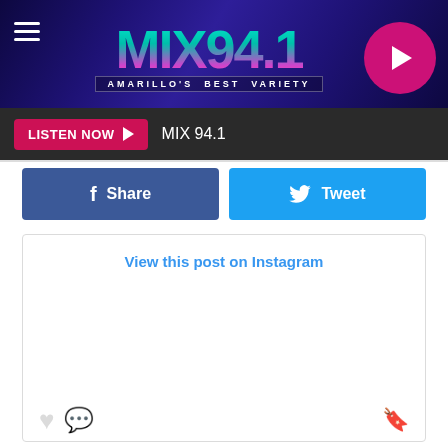[Figure (logo): MIX 94.1 radio station logo with 'AMARILLO'S BEST VARIETY' tagline on dark purple/blue background with play button]
LISTEN NOW  MIX 94.1
Share
Tweet
View this post on Instagram
A post shared by RobZombieofficial (@robzombieofficial)